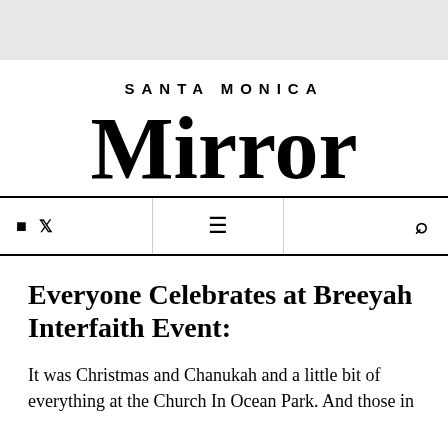[Figure (logo): Santa Monica Mirror newspaper logo in blackletter/Gothic typeface]
Navigation bar with social icons (Facebook, Twitter), hamburger menu, and search icon
Everyone Celebrates at Breeyah Interfaith Event:
It was Christmas and Chanukah and a little bit of everything at the Church In Ocean Park. And those in